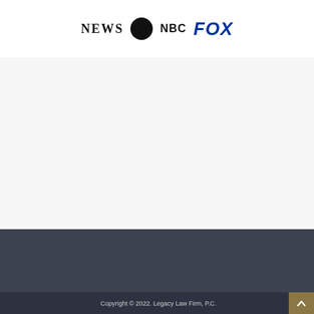[Figure (logo): Media logos: NEWS wordmark, dark circle logo, NBC wordmark, FOX wordmark in blue italic]
[Figure (other): Empty light gray content area]
[Figure (other): Dark gray section area]
Copyright © 2022. Legacy Law Firm, P.C.